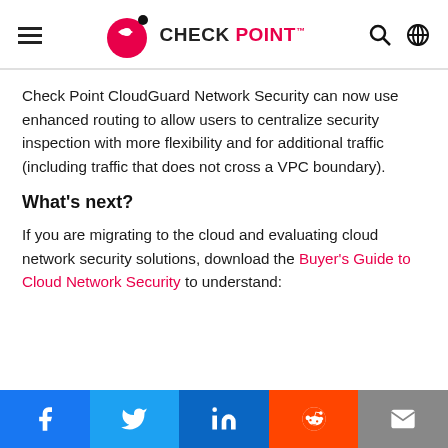[Figure (logo): Check Point logo with hamburger menu, search icon, and globe icon in the page header]
Check Point CloudGuard Network Security can now use enhanced routing to allow users to centralize security inspection with more flexibility and for additional traffic (including traffic that does not cross a VPC boundary).
What’s next?
If you are migrating to the cloud and evaluating cloud network security solutions, download the Buyer’s Guide to Cloud Network Security to understand:
[Figure (infographic): Social media share bar with Facebook, Twitter, LinkedIn, Reddit, and Email buttons]